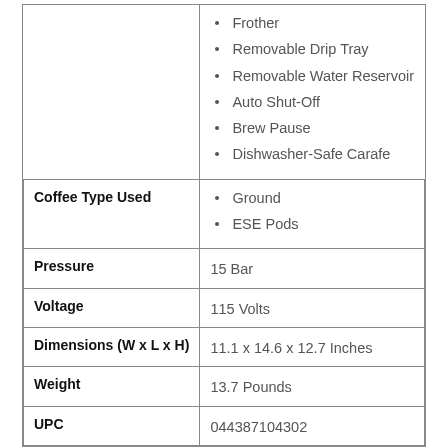| Attribute | Value |
| --- | --- |
|  | Frother
Removable Drip Tray
Removable Water Reservoir
Auto Shut-Off
Brew Pause
Dishwasher-Safe Carafe |
| Coffee Type Used | Ground
ESE Pods |
| Pressure | 15 Bar |
| Voltage | 115 Volts |
| Dimensions (W x L x H) | 11.1 x 14.6 x 12.7 Inches |
| Weight | 13.7 Pounds |
| UPC | 044387104302 |